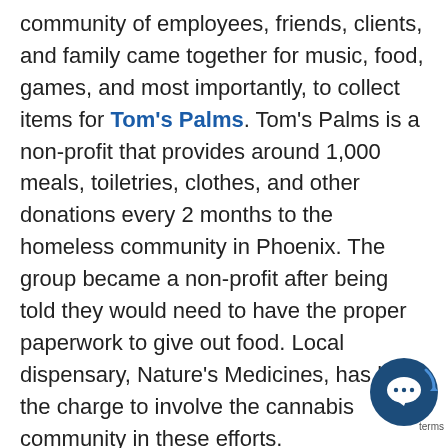community of employees, friends, clients, and family came together for music, food, games, and most importantly, to collect items for Tom's Palms. Tom's Palms is a non-profit that provides around 1,000 meals, toiletries, clothes, and other donations every 2 months to the homeless community in Phoenix. The group became a non-profit after being told they would need to have the proper paperwork to give out food. Local dispensary, Nature's Medicines, has led the charge to involve the cannabis community in these efforts.
Now the non-profit is backed by many of the Valley's leading cannabis companies...